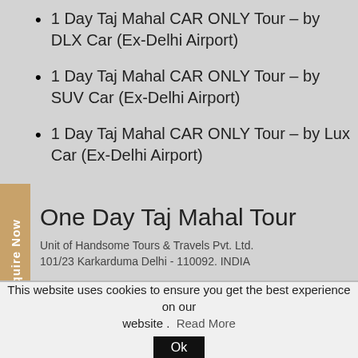1 Day Taj Mahal CAR ONLY Tour – by DLX Car (Ex-Delhi Airport)
1 Day Taj Mahal CAR ONLY Tour – by SUV Car (Ex-Delhi Airport)
1 Day Taj Mahal CAR ONLY Tour – by Lux Car (Ex-Delhi Airport)
One Day Taj Mahal Tour
Unit of Handsome Tours & Travels Pvt. Ltd.
101/23 Karkarduma Delhi - 110092. INDIA
Members of :
This website uses cookies to ensure you get the best experience on our website .  Read More  Ok